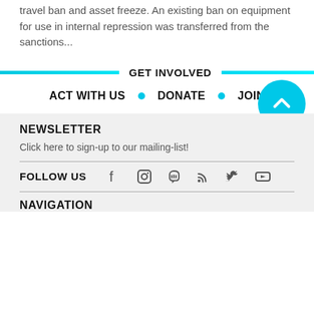travel ban and asset freeze. An existing ban on equipment for use in internal repression was transferred from the sanctions...
GET INVOLVED
ACT WITH US • DONATE • JOIN
NEWSLETTER
Click here to sign-up to our mailing-list!
FOLLOW US
NAVIGATION